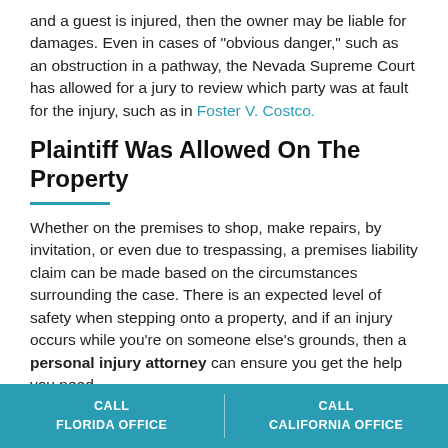and a guest is injured, then the owner may be liable for damages. Even in cases of “obvious danger,” such as an obstruction in a pathway, the Nevada Supreme Court has allowed for a jury to review which party was at fault for the injury, such as in Foster V. Costco.
Plaintiff Was Allowed On The Property
Whether on the premises to shop, make repairs, by invitation, or even due to trespassing, a premises liability claim can be made based on the circumstances surrounding the case. There is an expected level of safety when stepping onto a property, and if an injury occurs while you’re on someone else’s grounds, then a personal injury attorney can ensure you get the help you need.
How A Personal Injury Lawyer Can
CALL FLORIDA OFFICE | CALL CALIFORNIA OFFICE